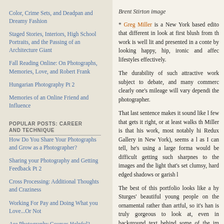Color, Crime Sets, and Deadpan and Dreamy Fashion
Staged Stories, Interiors, High School Portraits, and the Passing of an Architecture Giant
Fall Reading Online: On Photographs, Memories, Love, and Robert Frank
Hungarian Photography Pt 2
Memories of an Online Friend and Influence
POPULAR POSTS: CAREER AND TECHNIQUE
How Do You Share Your Photographs and Grow as a Photographer?
Sharing your Photography and Getting Feedback Pt 2
Cross Processing: Additional Thoughts and Craziness
Working For Pay and Doing What you Love...Or Not
Are Photography Courses Helpful?
Brent Stirton image
* Greg Miller is a New York based editor that different in look at first blush from the work is well lit and presented in a context by looking happy, hip, ironic and affect lifestyles effectively.
The durability of such attractive work subject to debate, and many commerc clearly one's mileage will vary dependi the photographer.
That last sentence makes it sound like few that gets it right, or at least walks t Miller is that his work, most notably hi Redux Gallery in New York), seems a as I can tell, he's using a large forma would be difficult getting such sharpnes to the images and the light that's set clumsy, hard edged shadows or garish
The best of this portfolio looks like a h Sturges' beautiful young people on the ornamental rather than artful, so it's ha is truly gorgeous to look at, even in background text behind some of the im isn't your thing, there's an equally im scenes from around New York).